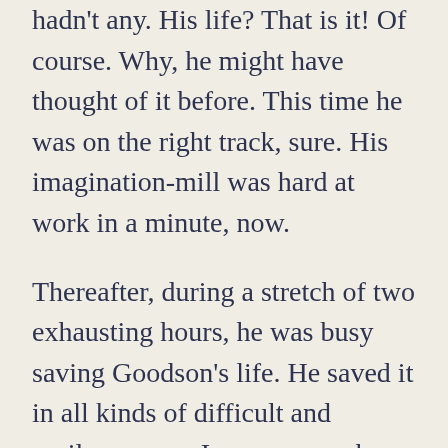hadn't any. His life? That is it! Of course. Why, he might have thought of it before. This time he was on the right track, sure. His imagination-mill was hard at work in a minute, now.
Thereafter, during a stretch of two exhausting hours, he was busy saving Goodson's life. He saved it in all kinds of difficult and perilous ways. In every case he got it saved satisfactorily up to a certain point; then, just as he was beginning to get well persuaded that it had really happened, a troublesome detail would